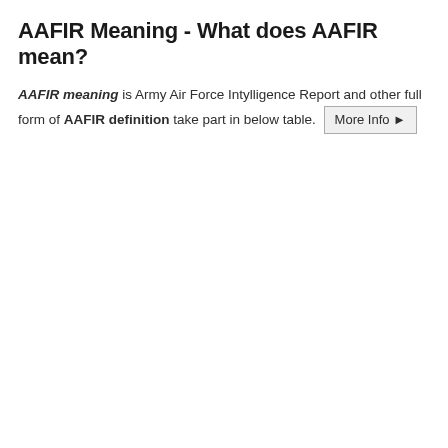AAFIR Meaning - What does AAFIR mean?
AAFIR meaning is Army Air Force Intylligence Report and other full form of AAFIR definition take part in below table. More Info ▶